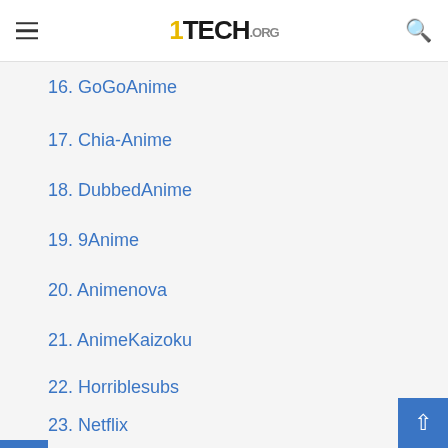1TECH.ORG
16. GoGoAnime
17. Chia-Anime
18. DubbedAnime
19. 9Anime
20. Animenova
21. AnimeKaizoku
22. Horriblesubs
23. Netflix
24. Hulu
25. Anime-Planet